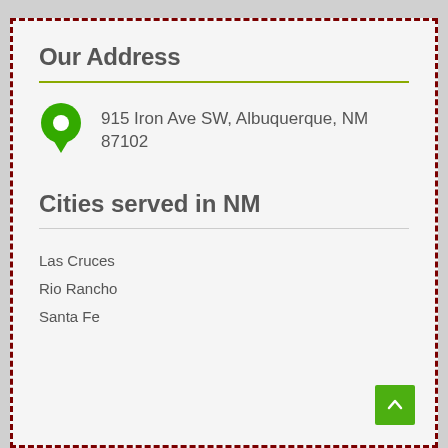Our Address
915 Iron Ave SW, Albuquerque, NM 87102
Cities served in NM
Las Cruces
Rio Rancho
Santa Fe